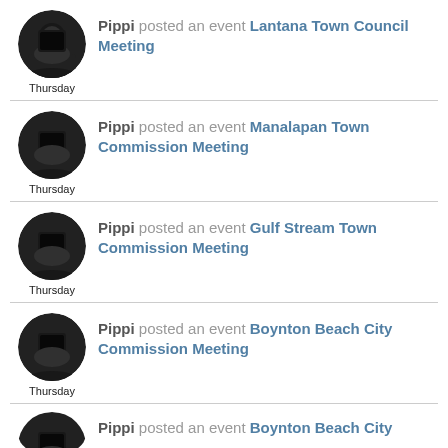Pippi posted an event Lantana Town Council Meeting
Thursday
Pippi posted an event Manalapan Town Commission Meeting
Thursday
Pippi posted an event Gulf Stream Town Commission Meeting
Thursday
Pippi posted an event Boynton Beach City Commission Meeting
Thursday
Pippi posted an event Boynton Beach City...